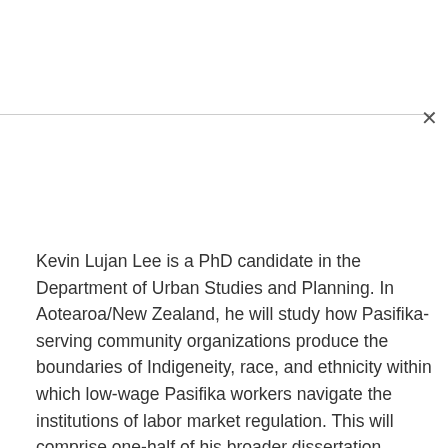Kevin Lujan Lee is a PhD candidate in the Department of Urban Studies and Planning. In Aotearoa/New Zealand, he will study how Pasifika-serving community organizations produce the boundaries of Indigeneity, race, and ethnicity within which low-wage Pasifika workers navigate the institutions of labor market regulation. This will comprise one-half of his broader dissertation project — a comparative study of Indigenous Pacific Islanders and low-wage work in 21st-century empires. His research is only made possible by activists in the U.S. immigrant labor movement and global LANDBACK movement